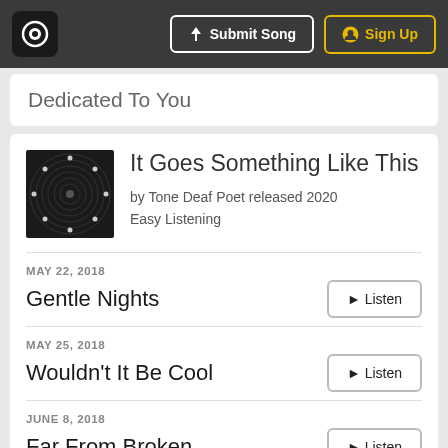Submit Song | Sign Up
Dedicated To You
It Goes Something Like This
by Tone Deaf Poet released 2020
Easy Listening
MAY 22, 2018
Gentle Nights
MAY 25, 2018
Wouldn't It Be Cool
JUNE 8, 2018
Far From Broken